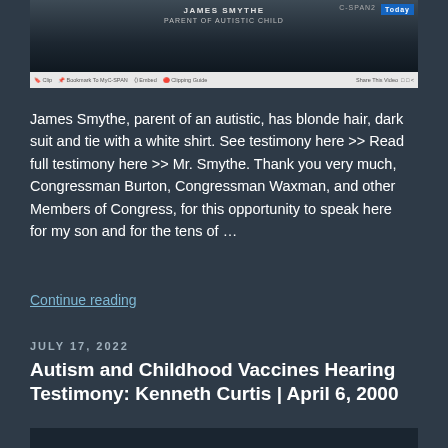[Figure (screenshot): Video screenshot showing James Smythe labeled as 'PARENT OF AUTISTIC CHILD' with a CSPAN-style broadcast interface, toolbar with Clip, Bookmark, Embed, Clipping Guide, and Share This Video options]
James Smythe, parent of an autistic, has blonde hair, dark suit and tie with a white shirt. See testimony here >> Read full testimony here >> Mr. Smythe. Thank you very much, Congressman Burton, Congressman Waxman, and other Members of Congress, for this opportunity to speak here for my son and for the tens of …
Continue reading
JULY 17, 2022
Autism and Childhood Vaccines Hearing Testimony: Kenneth Curtis | April 6, 2000
[Figure (screenshot): Bottom partial image of a video thumbnail]